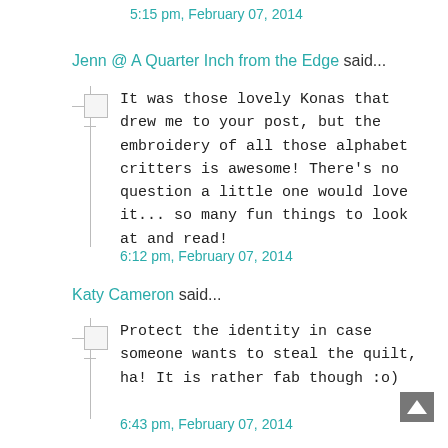5:15 pm, February 07, 2014
Jenn @ A Quarter Inch from the Edge said...
It was those lovely Konas that drew me to your post, but the embroidery of all those alphabet critters is awesome! There's no question a little one would love it... so many fun things to look at and read!
6:12 pm, February 07, 2014
Katy Cameron said...
Protect the identity in case someone wants to steal the quilt, ha! It is rather fab though :o)
6:43 pm, February 07, 2014